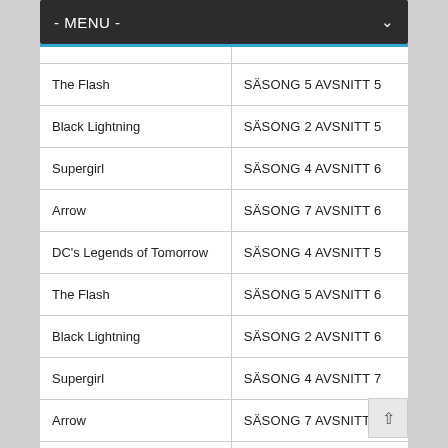- MENU -
|  |  |
| --- | --- |
| The Flash | SÄSONG 5 AVSNITT 5 |
| Black Lightning | SÄSONG 2 AVSNITT 5 |
| Supergirl | SÄSONG 4 AVSNITT 6 |
| Arrow | SÄSONG 7 AVSNITT 6 |
| DC's Legends of Tomorrow | SÄSONG 4 AVSNITT 5 |
| The Flash | SÄSONG 5 AVSNITT 6 |
| Black Lightning | SÄSONG 2 AVSNITT 6 |
| Supergirl | SÄSONG 4 AVSNITT 7 |
| Arrow | SÄSONG 7 AVSNITT 7 |
| DC's Legends of Tomorrow | SÄSONG 4 AVSNITT 6 |
| The Flash | SÄSONG 5 AVSNITT 7 |